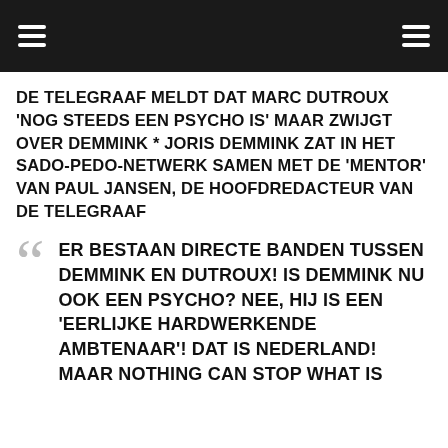[hamburger menu icons]
DE TELEGRAAF MELDT DAT MARC DUTROUX 'NOG STEEDS EEN PSYCHO IS' MAAR ZWIJGT OVER DEMMINK * JORIS DEMMINK ZAT IN HET SADO-PEDO-NETWERK SAMEN MET DE 'MENTOR' VAN PAUL JANSEN, DE HOOFDREDACTEUR VAN DE TELEGRAAF
ER BESTAAN DIRECTE BANDEN TUSSEN DEMMINK EN DUTROUX! IS DEMMINK NU OOK EEN PSYCHO? NEE, HIJ IS EEN 'EERLIJKE HARDWERKENDE AMBTENAAR'! DAT IS NEDERLAND! MAAR NOTHING CAN STOP WHAT IS